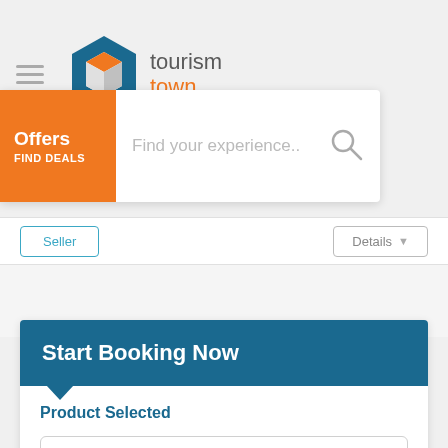[Figure (logo): Tourism Town logo with hexagon icon and text 'tourism town']
Find your experience..
Offers FIND DEALS
Seller
Details
Start Booking Now
Product Selected
Kuranda Riverboat Cruise
Enter Number of travellers*
Public - from $25.00